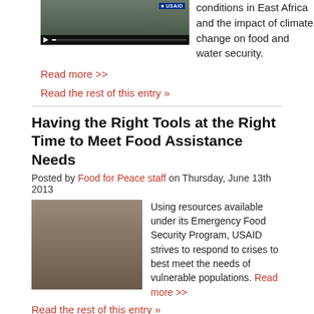[Figure (screenshot): Video thumbnail showing a person with USAID branding and video playback controls]
conditions in East Africa and the impact of climate change on food and water security.
Read more >>
Read the rest of this entry »
Having the Right Tools at the Right Time to Meet Food Assistance Needs
Posted by Food for Peace staff on Thursday, June 13th 2013
[Figure (photo): Hands holding white grain/food]
Using resources available under its Emergency Food Security Program, USAID strives to respond to crises to best meet the needs of vulnerable populations. Read more >>
Read the rest of this entry »